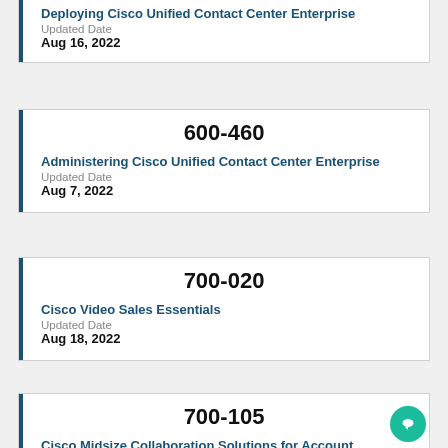Deploying Cisco Unified Contact Center Enterprise
Updated Date
Aug 16, 2022
600-460
Administering Cisco Unified Contact Center Enterprise
Updated Date
Aug 7, 2022
700-020
Cisco Video Sales Essentials
Updated Date
Aug 18, 2022
700-105
Cisco Midsize Collaboration Solutions for Account Managers